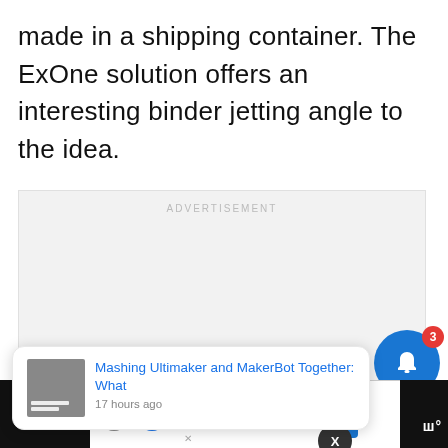made in a shipping container. The ExOne solution offers an interesting binder jetting angle to the idea.
[Figure (screenshot): Advertisement placeholder box with light gray background, 'ADVERTISEMENT' label at top, three pagination dots at bottom, and a blue notification bell button with red badge showing '3' in top-right corner.]
[Figure (screenshot): Notification card popup showing article: 'Mashing Ultimaker and MakerBot Together: What' with timestamp '17 hours ago' and a thumbnail image.]
[Figure (screenshot): Bottom advertisement bar showing 'Leesburg Premium Outlets' with icon and blue navigation arrow, overlaid on a black footer bar with Tubi logo.]